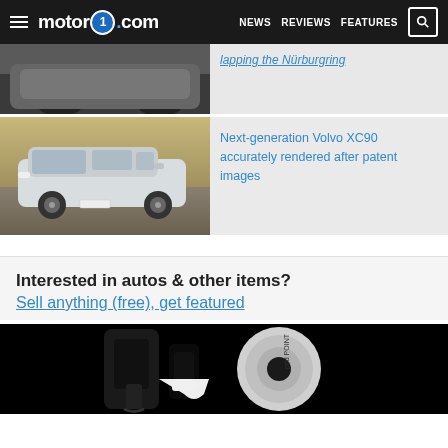motor1.com | NEWS | REVIEWS | FEATURES
[Figure (photo): Partial view of a dark SUV in motion on a road, cropped at top of page]
lapping the Nürburgring
[Figure (photo): Light blue Volvo EX90 SUV driving on a road]
Next-generation Volvo XC90 accurately rendered after patent images
Interested in autos & other items?
Sell anything (free), get featured
[Figure (photo): Pod Point EV charger in black and white, close-up on dark background]